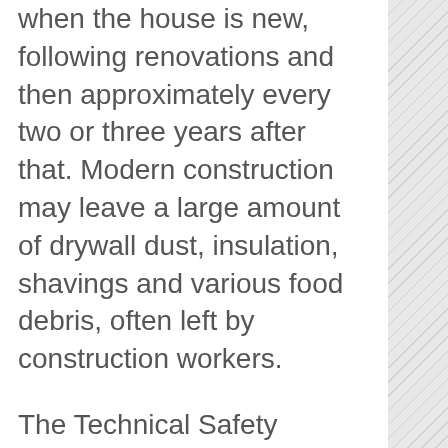when the house is new, following renovations and then approximately every two or three years after that. Modern construction may leave a large amount of drywall dust, insulation, shavings and various food debris, often left by construction workers.
The Technical Safety Standards Association (TSSA) now requires that air ducts be cleaned following construction, especially if the furnace was used during construction. In a new home the building debris leaves a film of dust on hardwood floors and all furniture. This can leave your skin feeling dry and itchy and can cause your furnace to malfunction. This dry dust, draws moisture from the air